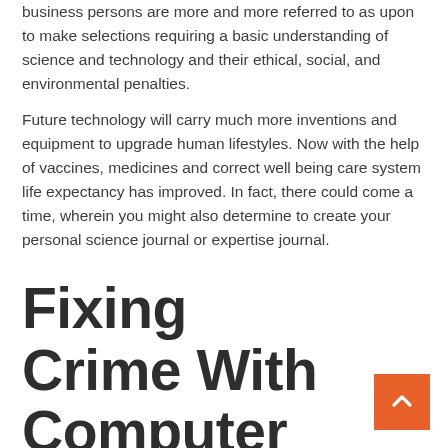business persons are more and more referred to as upon to make selections requiring a basic understanding of science and technology and their ethical, social, and environmental penalties.
Future technology will carry much more inventions and equipment to upgrade human lifestyles. Now with the help of vaccines, medicines and correct well being care system life expectancy has improved. In fact, there could come a time, wherein you might also determine to create your personal science journal or expertise journal.
Fixing Crime With Computer Forensics